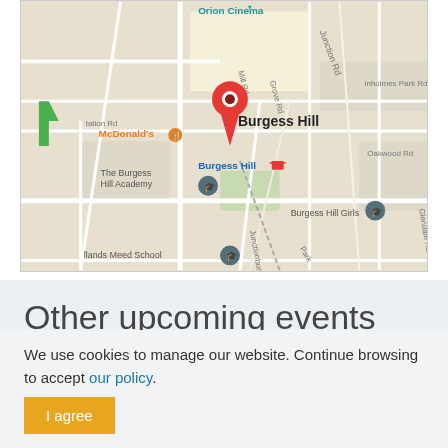[Figure (map): Google Maps screenshot showing Burgess Hill area with a red location pin dropped on Burgess Hill town center. Visible landmarks include McDonald's (orange), Burgess Hill train station (blue label with train icon), The Burgess Hill Academy, Burgess Hill Girls school, Orion Cinema (teal label at top), Lands Meed School, various roads including Junction Rd, Inholmes Park Rd, Oakwood Rd, Silverdale, Glendale Rd, Grove Rd, Mill Rd, Junctionbury Rd, and Station Rd.]
Other upcoming events
There are currently no upcoming events.
We use cookies to manage our website. Continue browsing to accept our policy.